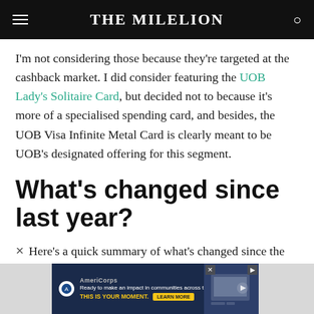THE MILELION
I'm not considering those because they're targeted at the cashback market. I did consider featuring the UOB Lady's Solitaire Card, but decided not to because it's more of a specialised spending card, and besides, the UOB Visa Infinite Metal Card is clearly meant to be UOB's designated offering for this segment.
What's changed since last year?
Here's a quick summary of what's changed since the
[Figure (screenshot): AmeriCorps advertisement banner with dark navy background. Text: 'Ready to make an impact in communities across the country? THIS IS YOUR MOMENT.' with LEARN MORE button. Image of person at computer on the right.]